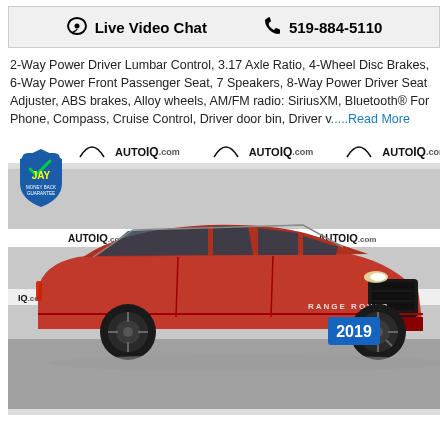Live Video Chat   519-884-5110
2-Way Power Driver Lumbar Control, 3.17 Axle Ratio, 4-Wheel Disc Brakes, 6-Way Power Front Passenger Seat, 7 Speakers, 8-Way Power Driver Seat Adjuster, ABS brakes, Alloy wheels, AM/FM radio: SiriusXM, Bluetooth® For Phone, Compass, Cruise Control, Driver door bin, Driver v.....Read More
[Figure (photo): Red 2019 Range Rover Velar SUV photographed in front of an AutoIQ.com branded backdrop. A blue license plate area shows '2019'. A JAY Money Back Guarantee badge appears in the top-left corner. Multiple AutoIQ.com logos are visible on the backdrop behind the vehicle.]